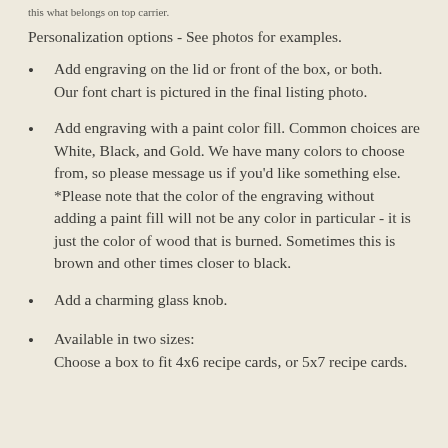this what belongs on top carrier.
Personalization options - See photos for examples.
Add engraving on the lid or front of the box, or both. Our font chart is pictured in the final listing photo.
Add engraving with a paint color fill. Common choices are White, Black, and Gold. We have many colors to choose from, so please message us if you'd like something else. *Please note that the color of the engraving without adding a paint fill will not be any color in particular - it is just the color of wood that is burned. Sometimes this is brown and other times closer to black.
Add a charming glass knob.
Available in two sizes: Choose a box to fit 4x6 recipe cards, or 5x7 recipe cards.